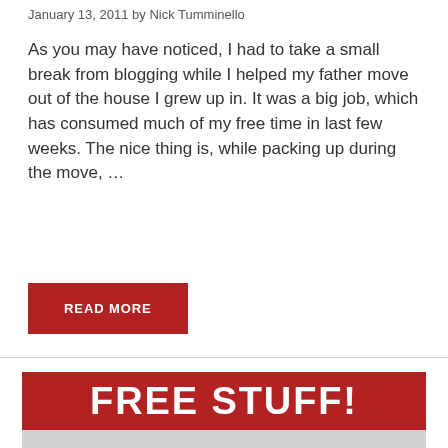January 13, 2011 by Nick Tumminello
As you may have noticed, I had to take a small break from blogging while I helped my father move out of the house I grew up in. It was a big job, which has consumed much of my free time in last few weeks. The nice thing is, while packing up during the move, …
READ MORE
[Figure (other): Red banner with bold white text reading FREE STUFF!]